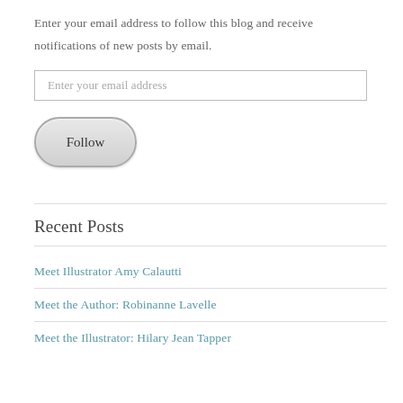Enter your email address to follow this blog and receive notifications of new posts by email.
[Figure (other): Email input field with placeholder text 'Enter your email address']
[Figure (other): Follow button with rounded rectangle shape]
Recent Posts
Meet Illustrator Amy Calautti
Meet the Author: Robinanne Lavelle
Meet the Illustrator: Hilary Jean Tapper